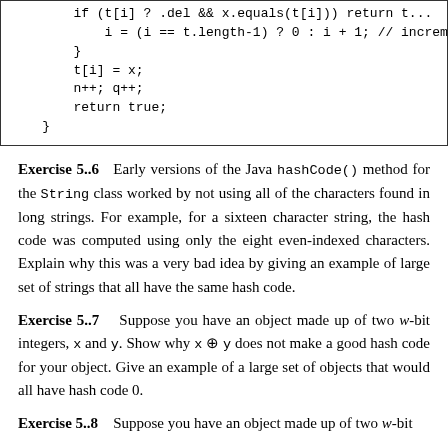[Figure (screenshot): Code block showing Java code snippet with conditional increment and enqueue logic: if (t[i] ? .del && x.equals(t[i]), return t..., i = (i == t.length-1) ? 0 : i + 1; // increm, }, t[i] = x;, n++; q++;, return true;, }]
Exercise 5..6   Early versions of the Java hashCode() method for the String class worked by not using all of the characters found in long strings. For example, for a sixteen character string, the hash code was computed using only the eight even-indexed characters. Explain why this was a very bad idea by giving an example of large set of strings that all have the same hash code.
Exercise 5..7   Suppose you have an object made up of two w-bit integers, x and y. Show why x ⊕ y does not make a good hash code for your object. Give an example of a large set of objects that would all have hash code 0.
Exercise 5..8   Suppose you have an object made up of two w-bit